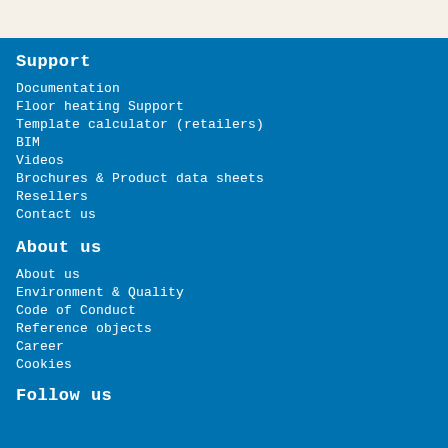Support
Documentation
Floor heating Support
Template calculator (retailers)
BIM
Videos
Brochures & Product data sheets
Resellers
Contact us
About us
About us
Environment & Quality
Code of Conduct
Reference objects
Career
Cookies
Follow us